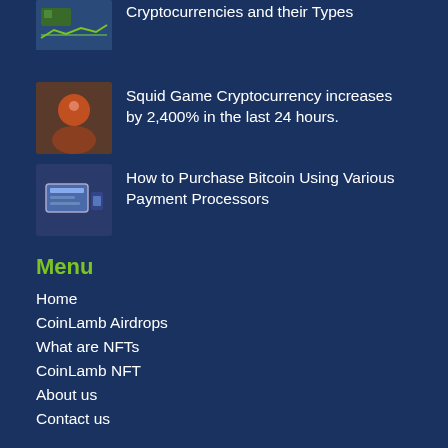Cryptocurrencies and their Types
Squid Game Cryptocurrency increases by 2,400% in the last 24 hours.
How to Purchase Bitcoin Using Various Payment Processors
Menu
Home
CoinLamb Airdrops
What are NFTs
CoinLamb NFT
About us
Contact us